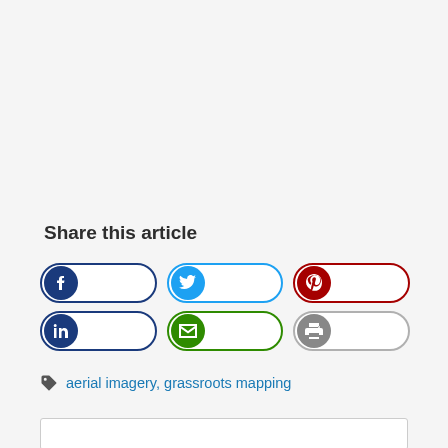Share this article
[Figure (infographic): Social share buttons: Facebook, Twitter, Pinterest (row 1); LinkedIn, Email, Print (row 2). Each button is a pill-shaped outline with a colored circle icon on the left.]
aerial imagery, grassroots mapping